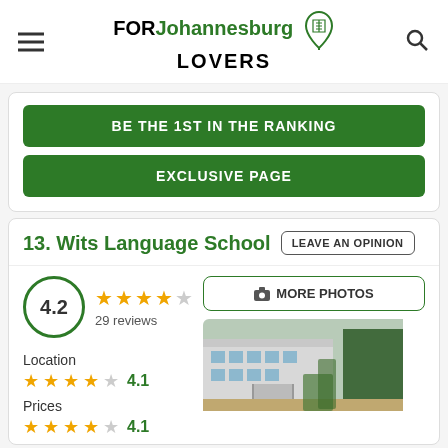FORJohannesburg LOVERS
BE THE 1ST IN THE RANKING
EXCLUSIVE PAGE
13. Wits Language School
LEAVE AN OPINION
4.2 — 29 reviews
MORE PHOTOS
[Figure (photo): Exterior photo of Wits Language School building]
Location
4.1
Prices
4.1